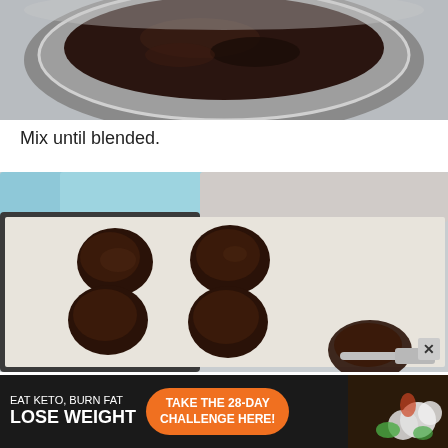[Figure (photo): Top-down view of a dark metal mixing bowl with chocolate batter/cocoa mixture on a light gray surface]
Mix until blended.
[Figure (photo): Top-down view of dark chocolate cookie dough balls on parchment paper on a baking tray, with a cookie scoop visible, and a light blue cloth in the background]
[Figure (infographic): Advertisement banner: 'EAT KETO, BURN FAT LOSE WEIGHT' with 'TAKE THE 28-DAY CHALLENGE HERE!' button and 'SPECIAL OFFER' badge, with food imagery on dark background]